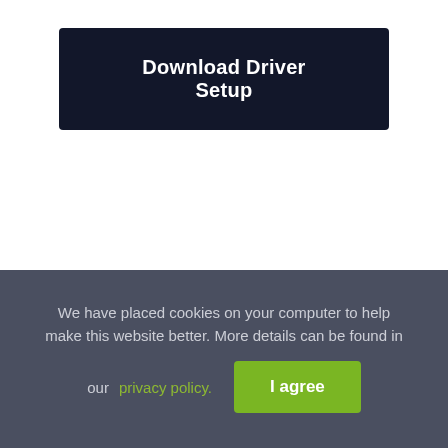[Figure (screenshot): Dark navy button labeled 'Download Driver Setup' on a white background]
We have placed cookies on your computer to help make this website better. More details can be found in our privacy policy.
[Figure (other): Green 'I agree' button in the cookie consent bar]